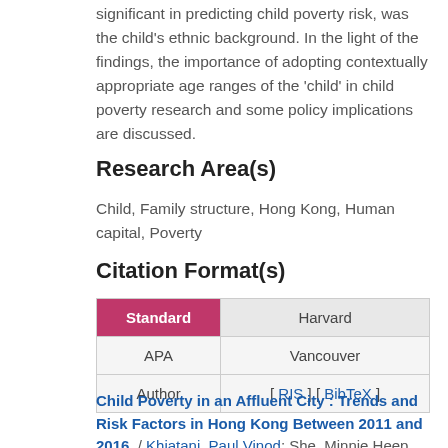significant in predicting child poverty risk, was the child's ethnic background. In the light of the findings, the importance of adopting contextually appropriate age ranges of the 'child' in child poverty research and some policy implications are discussed.
Research Area(s)
Child, Family structure, Hong Kong, Human capital, Poverty
Citation Format(s)
| Standard | Harvard |
| --- | --- |
| APA | Vancouver |
| Author | [ RIS ] [ BibTeX ] |
Child Poverty in an Affluent City : Trends and Risk Factors in Hong Kong Between 2011 and 2016. / Khiatani, Paul Vinod; She, Minnie Heep Ching; Chui,